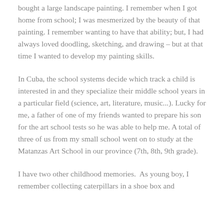bought a large landscape painting. I remember when I got home from school; I was mesmerized by the beauty of that painting. I remember wanting to have that ability; but, I had always loved doodling, sketching, and drawing – but at that time I wanted to develop my painting skills.
In Cuba, the school systems decide which track a child is interested in and they specialize their middle school years in a particular field (science, art, literature, music...). Lucky for me, a father of one of my friends wanted to prepare his son for the art school tests so he was able to help me. A total of three of us from my small school went on to study at the Matanzas Art School in our province (7th, 8th, 9th grade).
I have two other childhood memories.  As young boy, I remember collecting caterpillars in a shoe box and